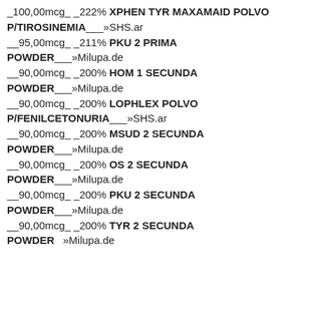_100,00mcg_ _222% XPHEN TYR MAXAMAID POLVO P/TIROSINEMIA___»SHS.ar
__95,00mcg_ _211% PKU 2 PRIMA POWDER___»Milupa.de
__90,00mcg_ _200% HOM 1 SECUNDA POWDER___»Milupa.de
__90,00mcg_ _200% LOPHLEX POLVO P/FENILCETONURIA___»SHS.ar
__90,00mcg_ _200% MSUD 2 SECUNDA POWDER___»Milupa.de
__90,00mcg_ _200% OS 2 SECUNDA POWDER___»Milupa.de
__90,00mcg_ _200% PKU 2 SECUNDA POWDER___»Milupa.de
__90,00mcg_ _200% TYR 2 SECUNDA POWDER   »Milupa.de